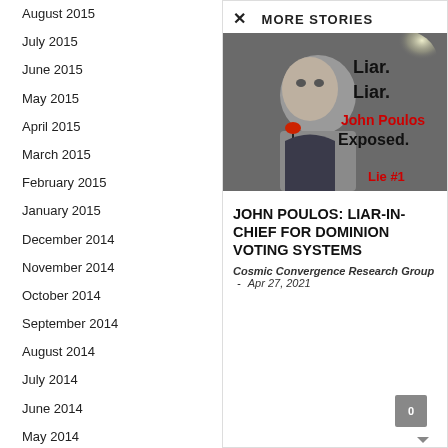August 2015
July 2015
June 2015
May 2015
April 2015
March 2015
February 2015
January 2015
December 2014
November 2014
October 2014
September 2014
August 2014
July 2014
June 2014
May 2014
MORE STORIES
[Figure (photo): Man at microphone with text overlay: Liar. Liar. John Poulos Exposed. Lie #1]
JOHN POULOS: LIAR-IN-CHIEF FOR DOMINION VOTING SYSTEMS
Cosmic Convergence Research Group - Apr 27, 2021